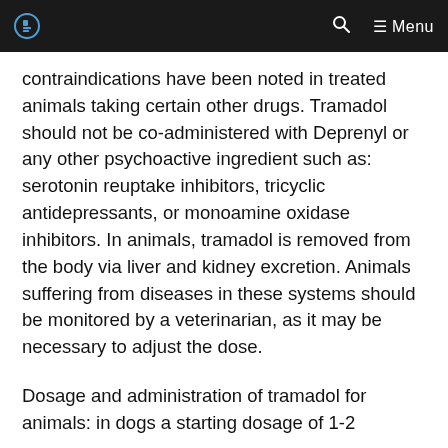Menu
contraindications have been noted in treated animals taking certain other drugs. Tramadol should not be co-administered with Deprenyl or any other psychoactive ingredient such as: serotonin reuptake inhibitors, tricyclic antidepressants, or monoamine oxidase inhibitors. In animals, tramadol is removed from the body via liver and kidney excretion. Animals suffering from diseases in these systems should be monitored by a veterinarian, as it may be necessary to adjust the dose.
Dosage and administration of tramadol for animals: in dogs a starting dosage of 1-2